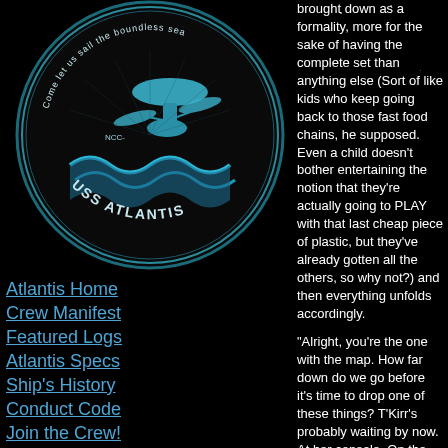[Figure (logo): USS Atlantis circular logo with Star Trek starship and wave design, teal/blue on black background. Text reads 'Come let us sail the boundless sea' and 'USS ATLANTIS']
Atlantis Home
Crew Manifest
Featured Logs
Atlantis Specs
Ship's History
Conduct Code
Join the Crew!
[Figure (logo): Starfleet insignia / Star Trek delta shield logo in gold/yellow on black background]
Atlantis Wiki
Sim Chatlogs
Site Archives
Site Admin
brought down as a formality, more for the sake of having the complete set than anything else (Sort of like kids who keep going back to those fast food chains, he supposed. Even a child doesn't bother entertaining the notion that they're actually going to PLAY with that last cheap piece of plastic, but they've already gotten all the others, so why not?) and then everything unfolds accordingly.
“Alright, you’re the one with the map. How far down do we go before it’s time to drop one of these things? T’Kirr’s probably waiting by now. At her console. On the ship.”
For the most part, Busard agreed with the sentiments made clear by McKnight’s tone of voice, but she didn’t much feel that this was the time to fume. For one, this was because she was a bit busy swallowing the pill that they’d all potentially been exposed to a disease which was at